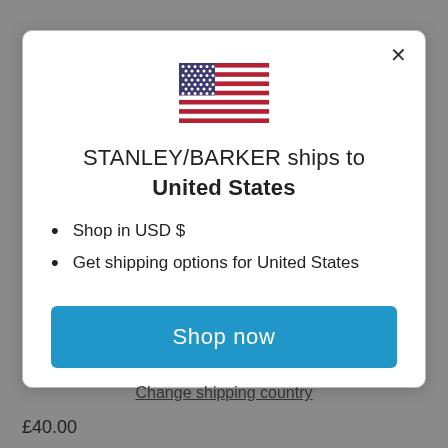[Figure (illustration): US flag emoji/icon centered at top of modal]
STANLEY/BARKER ships to United States
Shop in USD $
Get shipping options for United States
Shop now
Change shipping country
£40.00